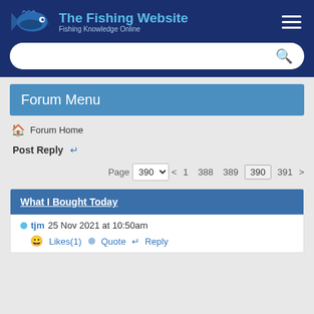The Fishing Website — Fishing Knowledge Online
[Figure (screenshot): Search bar with magnifying glass icon]
Forum Menu
Forum Home
Post Reply
Page  390  <  1  388  389  390  391  >
What I Bought Today
tjm  25 Nov 2021 at 10:50am
Likes(1)   Quote   Reply